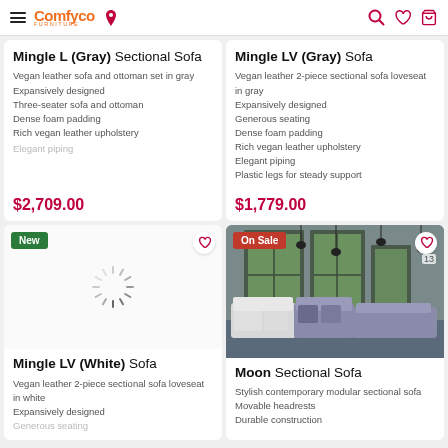Comfyco Furniture
Mingle L (Gray) Sectional Sofa
Vegan leather sofa and ottoman set in gray
Expansively designed
Three-seater sofa and ottoman
Dense foam padding
Rich vegan leather upholstery
Elegant piping
$2,709.00
Mingle LV (Gray) Sofa
Vegan leather 2-piece sectional sofa loveseat in gray
Expansively designed
Generous seating
Dense foam padding
Rich vegan leather upholstery
Elegant piping
Plastic legs for steady support
$1,779.00
[Figure (other): Loading spinner placeholder for Mingle LV (White) Sofa product image]
Mingle LV (White) Sofa
Vegan leather 2-piece sectional sofa loveseat in white
Expansively designed
Generous seating
[Figure (photo): Moon Sectional Sofa product photo showing a stylish contemporary modular sectional sofa in gray and white in a modern room]
Moon Sectional Sofa
Stylish contemporary modular sectional sofa
Movable headrests
Durable construction